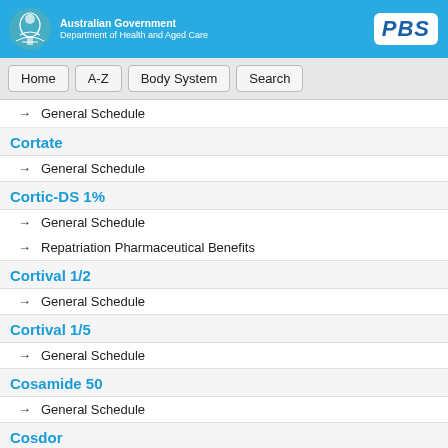Australian Government Department of Health and Aged Care | PBS
→ General Schedule
Cortate
→ General Schedule
Cortic-DS 1%
→ General Schedule
→ Repatriation Pharmaceutical Benefits
Cortival 1/2
→ General Schedule
Cortival 1/5
→ General Schedule
Cosamide 50
→ General Schedule
Cosdor
→ General Schedule